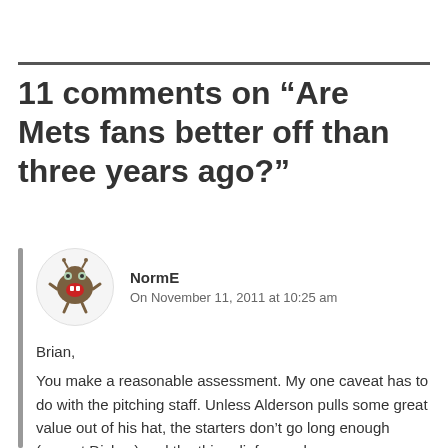11 comments on “Are Mets fans better off than three years ago?”
NormE
On November 11, 2011 at 10:25 am
Brian,
You make a reasonable assessment. My one caveat has to do with the pitching staff. Unless Alderson pulls some great value out of his hat, the starters don’t go long enough (except Dickey) and the thin relief corps becomes